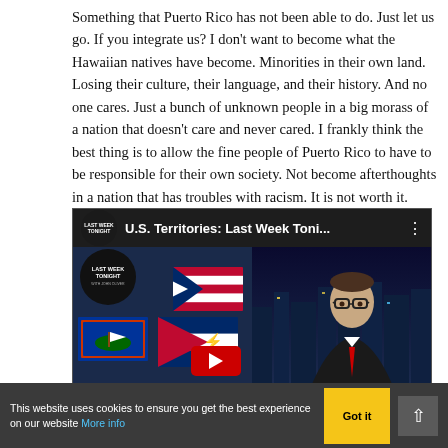Something that Puerto Rico has not been able to do. Just let us go. If you integrate us? I don't want to become what the Hawaiian natives have become. Minorities in their own land. Losing their culture, their language, and their history. And no one cares. Just a bunch of unknown people in a big morass of a nation that doesn't care and never cared. I frankly think the best thing is to allow the fine people of Puerto Rico to have to be responsible for their own society. Not become afterthoughts in a nation that has troubles with racism. It is not worth it.
I think the USA is going to wait for the violence of the worst kind to pay attention to these territories.
[Figure (screenshot): Embedded YouTube video thumbnail showing 'U.S. Territories: Last Week Toni...' with Last Week Tonight logo on the left and a talk show host on the right against a city backdrop.]
This website uses cookies to ensure you get the best experience on our website More info  Got it